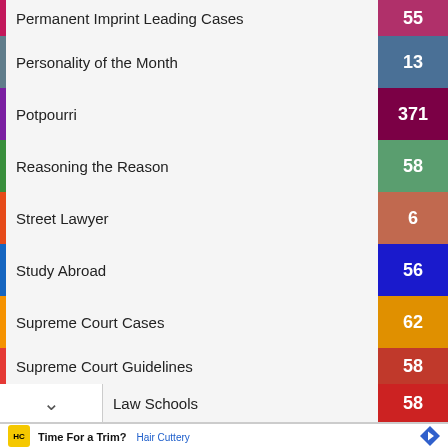Permanent Imprint Leading Cases
Personality of the Month
Potpourri
Reasoning the Reason
Street Lawyer
Study Abroad
Supreme Court Cases
Supreme Court Guidelines
Law Schools
[Figure (screenshot): Advertisement for Hair Cuttery: 'Time For a Trim?' with Hair Cuttery logo and navigation arrow icon]